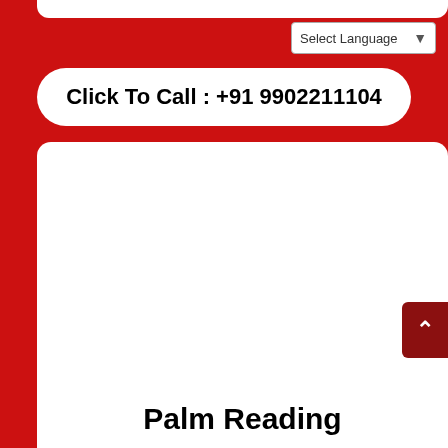[Figure (screenshot): White top navigation bar partially visible at top]
Select Language
Click To Call : +91 9902211104
[Figure (screenshot): White content card area taking up most of the lower portion of the page, with a dark red scroll-to-top button on the right]
Palm Reading